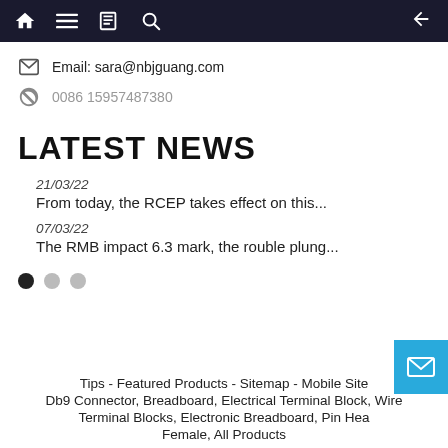Navigation bar with home, menu, bookmarks, search, and back icons
Email: sara@nbjguang.com
0086 15957487380
LATEST NEWS
21/03/22
From today, the RCEP takes effect on this...
07/03/22
The RMB impact 6.3 mark, the rouble plung...
Tips - Featured Products - Sitemap - Mobile Site
Db9 Connector, Breadboard, Electrical Terminal Block, Wire Terminal Blocks, Electronic Breadboard, Pin Hea Female, All Products